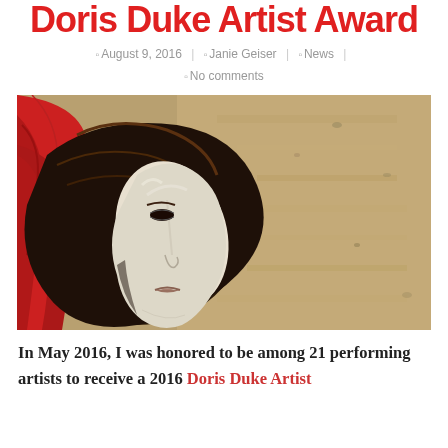Doris Duke Artist Award
August 9, 2016 | Janie Geiser | News | No comments
[Figure (photo): A doll or puppet head with a pale white face mask, brown hair, and a red hooded garment, lying face-up in sandy ground, viewed in profile from above.]
In May 2016, I was honored to be among 21 performing artists to receive a 2016 Doris Duke Artist